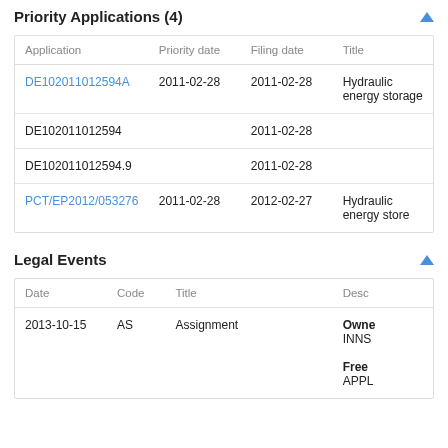Priority Applications (4)
| Application | Priority date | Filing date | Title |
| --- | --- | --- | --- |
| DE102011012594A | 2011-02-28 | 2011-02-28 | Hydraulic energy storage |
| DE102011012594 |  | 2011-02-28 |  |
| DE102011012594.9 |  | 2011-02-28 |  |
| PCT/EP2012/053276 | 2011-02-28 | 2012-02-27 | Hydraulic energy store |
Legal Events
| Date | Code | Title | Desc |
| --- | --- | --- | --- |
| 2013-10-15 | AS | Assignment | Owner
INNS

Free
APPL |